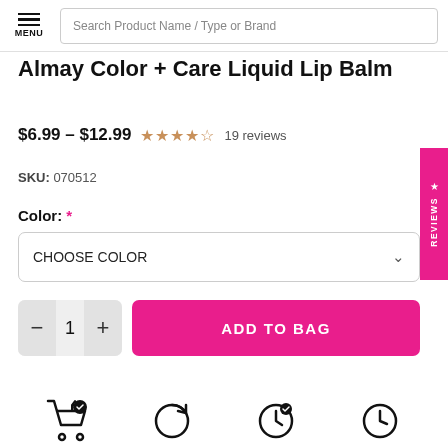MENU | Search Product Name / Type or Brand
Almay Color + Care Liquid Lip Balm
$6.99 – $12.99  ★★★★☆  19 reviews
SKU: 070512
Color: *
CHOOSE COLOR
− 1 +  ADD TO BAG
[Figure (infographic): Four service/feature icons at the bottom of the page]